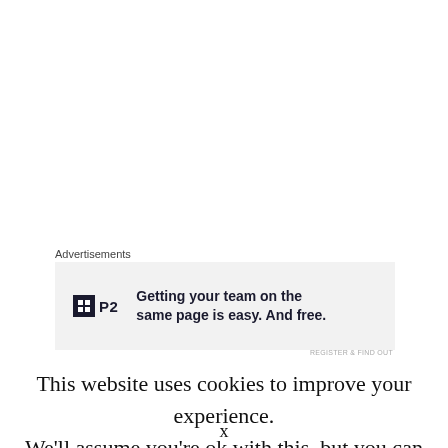Advertisements
[Figure (other): Advertisement banner for P2 service with logo showing a box with grid icon and text 'Getting your team on the same page is easy. And free.']
This website uses cookies to improve your experience. We'll assume you're ok with this, but you can opt-out if
x